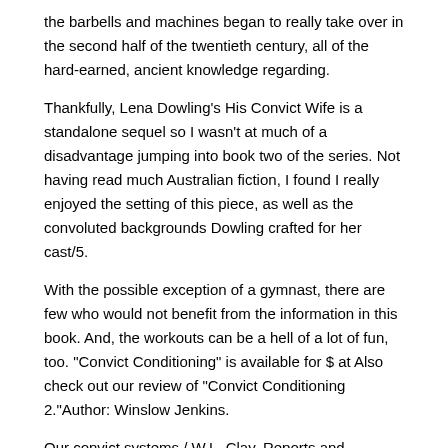the barbells and machines began to really take over in the second half of the twentieth century, all of the hard-earned, ancient knowledge regarding.
Thankfully, Lena Dowling's His Convict Wife is a standalone sequel so I wasn't at much of a disadvantage jumping into book two of the series. Not having read much Australian fiction, I found I really enjoyed the setting of this piece, as well as the convoluted backgrounds Dowling crafted for her cast/5.
With the possible exception of a gymnast, there are few who would not benefit from the information in this book. And, the workouts can be a hell of a lot of fun, too. "Convict Conditioning" is available for $ at Also check out our review of "Convict Conditioning 2."Author: Winslow Jenkins.
Our convict systems / W.L. Clay. Reports and observations on the discipline and management of convict prisons / Joshua Jebb Garland New York Wikipedia Citation Please see Wikipedia's template documentation for further citation fields that may be required.